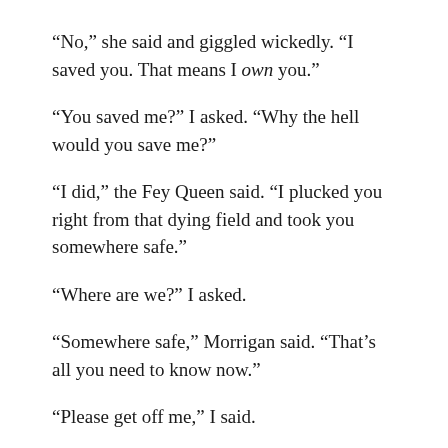“No,” she said and giggled wickedly. “I saved you. That means I own you.”
“You saved me?” I asked. “Why the hell would you save me?”
“I did,” the Fey Queen said. “I plucked you right from that dying field and took you somewhere safe.”
“Where are we?” I asked.
“Somewhere safe,” Morrigan said. “That’s all you need to know now.”
“Please get off me,” I said.
“Ah, manners,” she said. “That’s an improvement, at least.” She slid off me and nestled her head against my